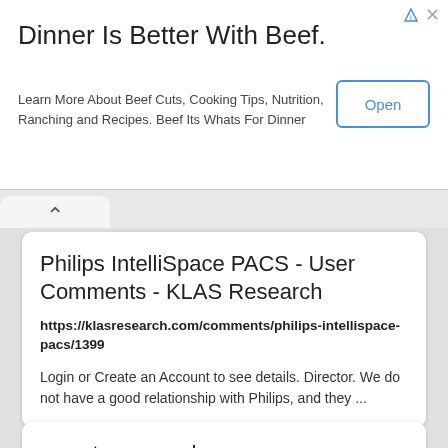Dinner Is Better With Beef.
Learn More About Beef Cuts, Cooking Tips, Nutrition, Ranching and Recipes. Beef Its Whats For Dinner
Open
Philips IntelliSpace PACS - User Comments - KLAS Research
https://klasresearch.com/comments/philips-intellispace-pacs/1399
Login or Create an Account to see details. Director. We do not have a good relationship with Philips, and they ...
www.traumacad.com - /support/Release/TraumaCad/2.5 ...
https://www.traumacad.com/support/Release/TraumaCa